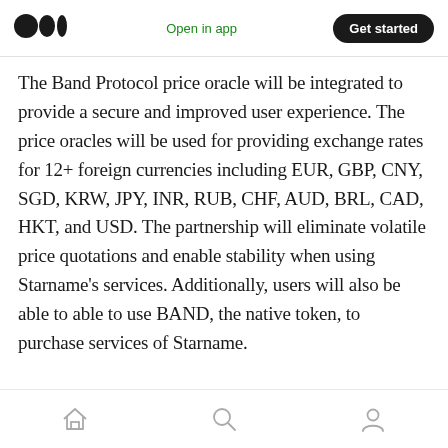Medium logo | Open in app | Get started
The Band Protocol price oracle will be integrated to provide a secure and improved user experience. The price oracles will be used for providing exchange rates for 12+ foreign currencies including EUR, GBP, CNY, SGD, KRW, JPY, INR, RUB, CHF, AUD, BRL, CAD, HKT, and USD. The partnership will eliminate volatile price quotations and enable stability when using Starname's services. Additionally, users will also be able to able to use BAND, the native token, to purchase services of Starname.
Home | Search | Profile